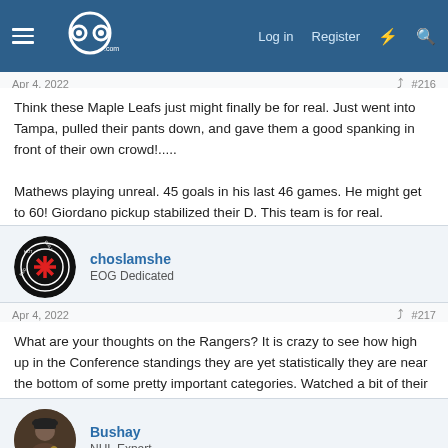GOG.com — Log in | Register
Think these Maple Leafs just might finally be for real. Just went into Tampa, pulled their pants down, and gave them a good spanking in front of their own crowd!.....

Mathews playing unreal. 45 goals in his last 46 games. He might get to 60! Giordano pickup stabilized their D. This team is for real.
choslamshe
EOG Dedicated
Apr 4, 2022  #217
What are your thoughts on the Rangers? It is crazy to see how high up in the Conference standings they are yet statistically they are near the bottom of some pretty important categories. Watched a bit of their game against the Flyers last night and they were brutal.
Bushay
NHL Expert